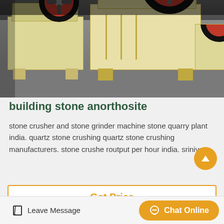[Figure (photo): Industrial jaw crusher machines in a factory/warehouse setting. Multiple yellow/cream-colored stone crusher machines with large red and black flywheel pulleys lined up on a concrete floor.]
building stone anorthosite
stone crusher and stone grinder machine stone quarry plant india. quartz stone crushing quartz stone crushing manufacturers. stone crushe routput per hour india. srinivas...
Get Price
Leave Message
Chat Online